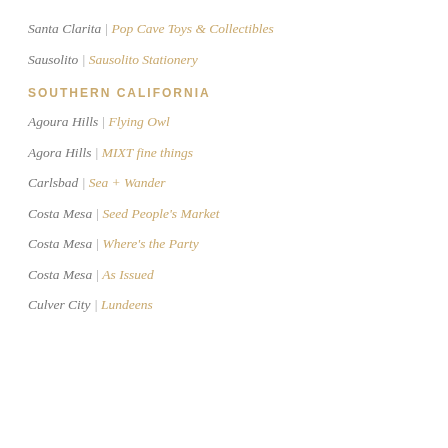Santa Clarita | Pop Cave Toys & Collectibles
Sausolito | Sausolito Stationery
SOUTHERN CALIFORNIA
Agoura Hills | Flying Owl
Agora Hills | MIXT fine things
Carlsbad | Sea + Wander
Costa Mesa | Seed People's Market
Costa Mesa | Where's the Party
Costa Mesa | As Issued
Culver City | Lundeens